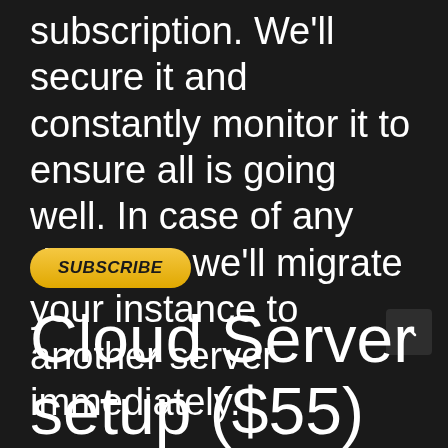subscription. We'll secure it and constantly monitor it to ensure all is going well. In case of any disasters we'll migrate your instance to another server immediately.
SUBSCRIBE
Cloud Server setup ($55)